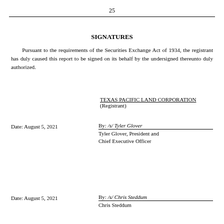25
SIGNATURES
Pursuant to the requirements of the Securities Exchange Act of 1934, the registrant has duly caused this report to be signed on its behalf by the undersigned thereunto duly authorized.
TEXAS PACIFIC LAND CORPORATION
(Registrant)
Date: August 5, 2021
By: /s/ Tyler Glover
Tyler Glover, President and Chief Executive Officer
Date: August 5, 2021
By: /s/ Chris Steddum
Chris Steddum